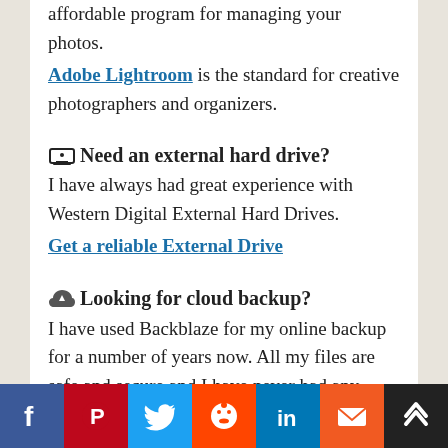affordable program for managing your photos.
Adobe Lightroom is the standard for creative photographers and organizers.
Need an external hard drive?
I have always had great experience with Western Digital External Hard Drives.
Get a reliable External Drive
Looking for cloud backup?
I have used Backblaze for my online backup for a number of years now. All my files are safe and secure and I have never had any problems with them.
Get the best cloud backup